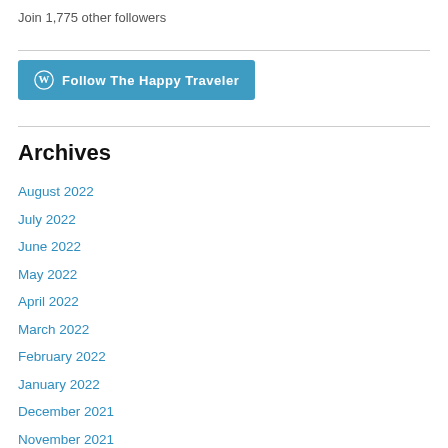Join 1,775 other followers
[Figure (other): Follow The Happy Traveler button with WordPress logo]
Archives
August 2022
July 2022
June 2022
May 2022
April 2022
March 2022
February 2022
January 2022
December 2021
November 2021
October 2021
September 2021